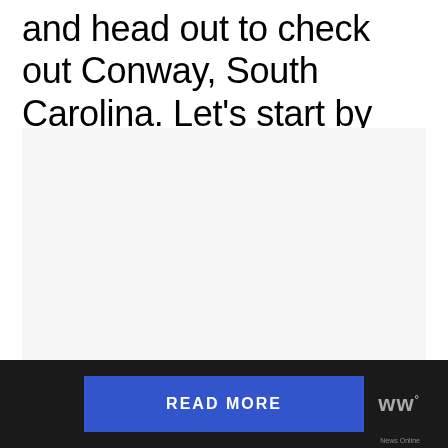and head out to check out Conway, South Carolina. Let's start by grabbing breakfast at Eggs Up Grill.
[Figure (photo): A large light gray placeholder image box representing a photo of Eggs Up Grill or Conway, South Carolina]
READ MORE | ww° News Online